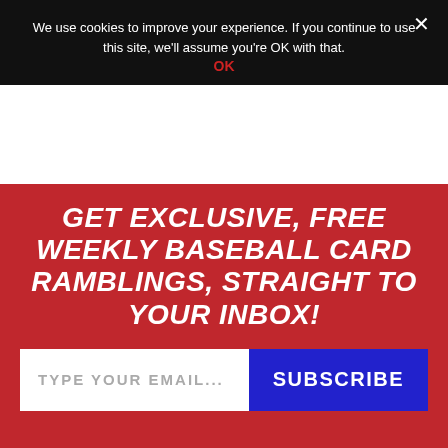We use cookies to improve your experience. If you continue to use this site, we'll assume you're OK with that.
OK
Get Exclusive, FREE Weekly Baseball Card Ramblings, Straight To Your Inbox!
TYPE YOUR EMAIL...
SUBSCRIBE
By entering your email address you agree to receive email versions of the Wax Pack Gods newsletter. We'll respect your privacy and you can unsubscribe at any time..
[Figure (screenshot): Firestone advertisement: Get An Oil Change Near You, with LEARN MORE button]